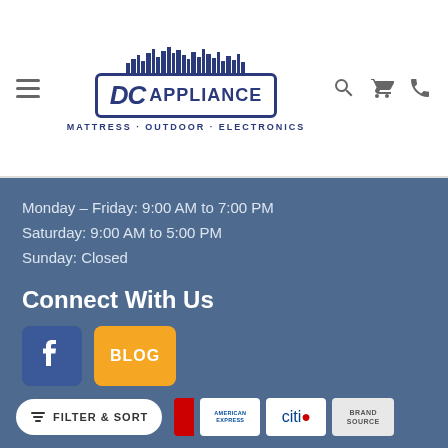[Figure (logo): DC Appliance logo with skyline above, tagline: MATTRESS · OUTDOOR · ELECTRONICS]
Monday – Friday: 9:00 AM to 7:00 PM
Saturday: 9:00 AM to 5:00 PM
Sunday: Closed
Connect With Us
[Figure (logo): Facebook icon and Blog icon (speech bubble with BLOG text)]
Payment Methods
[Figure (logo): Payment method logos: American Express, Citi, Brand Source]
FILTER & SORT